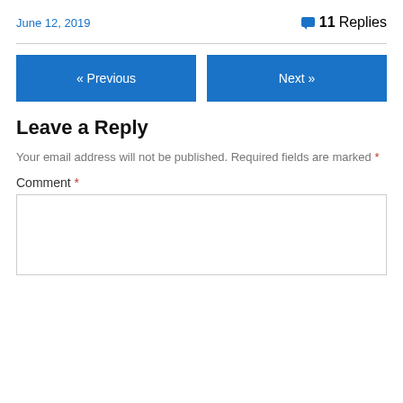June 12, 2019   💬 11 Replies
« Previous    Next »
Leave a Reply
Your email address will not be published. Required fields are marked *
Comment *